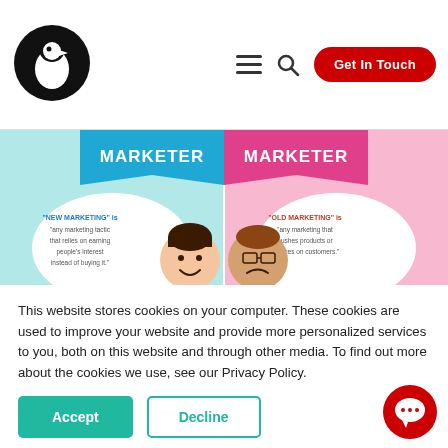[Figure (logo): Penguin-like logo: black circle with white bird shape]
[Figure (infographic): Inbound Marketer vs Outbound Marketer comparison infographic. Left (teal): 'NEW MARKETING' is 'any marketing tactic that relies on earning people's interest instead of buying it.' Communication is interactive and two-way. Customers come to you via search engines, referrals, social media. Right (pink): 'OLD MARKETING' is 'any marketing that pushes products or services on customers.' Communication is one-way. Customers are sought out via print, TV, radio, banner advertising, cold calls.]
This website stores cookies on your computer. These cookies are used to improve your website and provide more personalized services to you, both on this website and through other media. To find out more about the cookies we use, see our Privacy Policy.
[Figure (other): Accept button (teal/green)]
[Figure (other): Decline button (outlined teal)]
[Figure (other): Red chat bubble button bottom right]